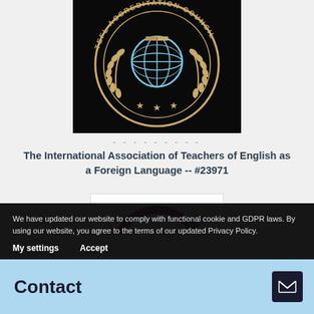[Figure (logo): TEFL Accreditation Council circular logo on black background with globe, book, laurel wreaths, and three stars]
- - - - - - - - -
The International Association of Teachers of English as a Foreign Language -- #23971
[Figure (logo): Partial view of another circular organization logo, showing purple arc]
We have updated our website to comply with functional cookie and GDPR laws. By using our website, you agree to the terms of our updated Privacy Policy.
My settings    Accept
Contact
The College of Teachers (UK)